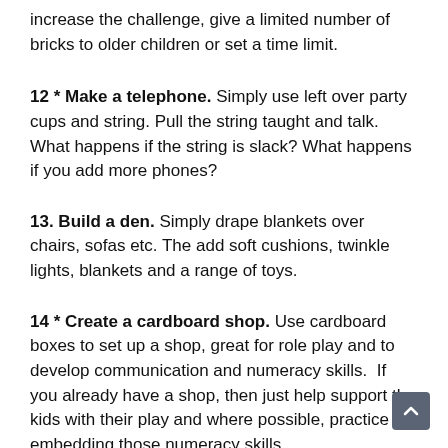increase the challenge, give a limited number of bricks to older children or set a time limit.
12 * Make a telephone. Simply use left over party cups and string. Pull the string taught and talk. What happens if the string is slack? What happens if you add more phones?
13. Build a den. Simply drape blankets over chairs, sofas etc. The add soft cushions, twinkle lights, blankets and a range of toys.
14 * Create a cardboard shop. Use cardboard boxes to set up a shop, great for role play and to develop communication and numeracy skills. If you already have a shop, then just help support the kids with their play and where possible, practice embedding those numeracy skills.